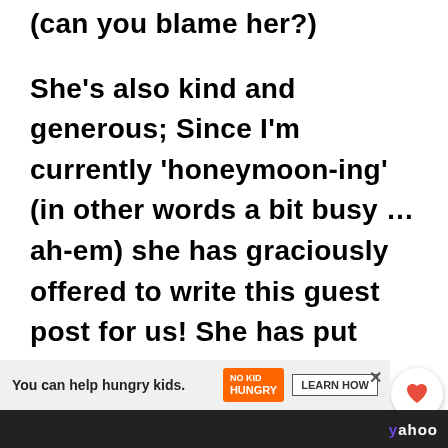(can you blame her?)
She’s also kind and generous; Since I’m currently ‘honeymoon-ing’ (in other words a bit busy … ah-em) she has graciously offered to write this guest post for us! She has put together an AMAZING 10-day itinerary for me and I will be testing it out later on my trip (stay tuned!) I’m feeling incredibly excited and inspired about t
[Figure (infographic): Social sharing panel with heart/save button showing 4.8K count and a share button]
[Figure (infographic): Advertisement banner: 'You can help hungry kids.' with No Kid Hungry logo and Learn How button, and a close X button. Below is a dark bottom bar with Yahoo logo.]